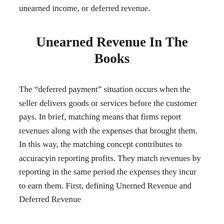unearned income, or deferred revenue.
Unearned Revenue In The Books
The “deferred payment” situation occurs when the seller delivers goods or services before the customer pays. In brief, matching means that firms report revenues along with the expenses that brought them. In this way, the matching concept contributes to accuracyin reporting profits. They match revenues by reporting in the same period the expenses they incur to earn them. First, defining Unerned Revenue and Deferred Revenue...